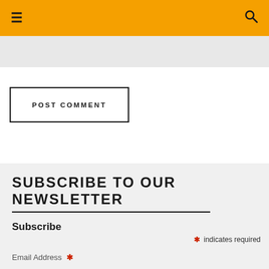≡  [hamburger menu icon] and [search icon]
POST COMMENT
SUBSCRIBE TO OUR NEWSLETTER
Subscribe
* indicates required
Email Address *